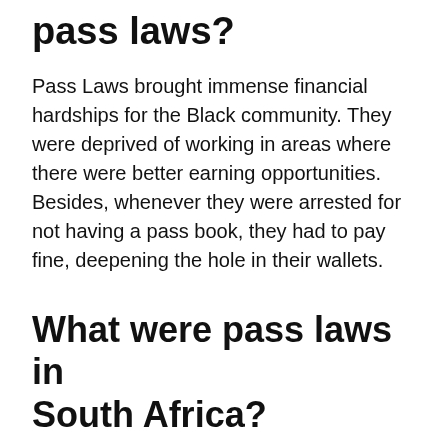pass laws?
Pass Laws brought immense financial hardships for the Black community. They were deprived of working in areas where there were better earning opportunities. Besides, whenever they were arrested for not having a pass book, they had to pay fine, deepening the hole in their wallets.
What were pass laws in South Africa?
The Pass Laws Act of 1952 required black South Africans over the age of 16 to carry a pass book, known as a dompas, everywhere and at all times. The dompas was similar to a